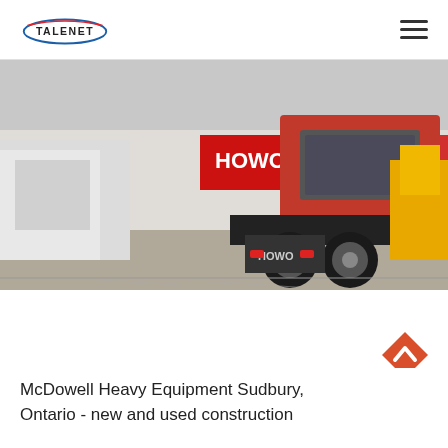TALENET
[Figure (photo): Rear view of a red HOWO heavy-duty truck tractor parked in a dealer lot with other trucks and construction equipment visible in the background. A red HOWO dealership banner is visible.]
[Figure (other): Orange diamond-shaped back-to-top button with an upward chevron arrow]
McDowell Heavy Equipment Sudbury, Ontario - new and used construction